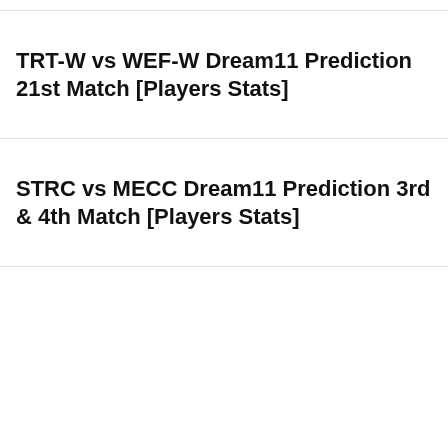TRT-W vs WEF-W Dream11 Prediction 21st Match [Players Stats]
STRC vs MECC Dream11 Prediction 3rd & 4th Match [Players Stats]